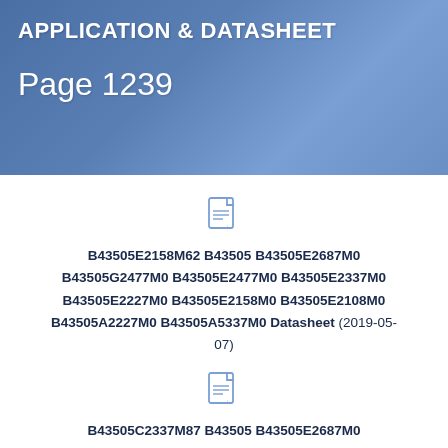APPLICATION & DATASHEET
Page 1239
[Figure (illustration): Document/file icon representing a PDF or datasheet file]
B43505E2158M62 B43505 B43505E2687M0 B43505G2477M0 B43505E2477M0 B43505E2337M0 B43505E2227M0 B43505E2158M0 B43505E2108M0 B43505A2227M0 B43505A5337M0 Datasheet (2019-05-07)
[Figure (illustration): Document/file icon representing a PDF or datasheet file]
B43505C2337M87 B43505 B43505E2687M0